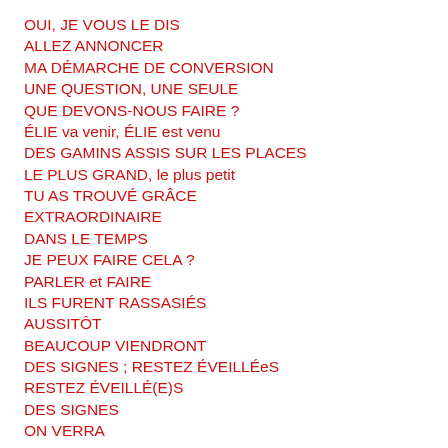OUI, JE VOUS LE DIS
ALLEZ ANNONCER
MA DÉMARCHE DE CONVERSION
UNE QUESTION, UNE SEULE
QUE DEVONS-NOUS FAIRE ?
ÉLIE va venir, ÉLIE est venu
DES GAMINS ASSIS SUR LES PLACES
LE PLUS GRAND, le plus petit
TU AS TROUVÉ GRÂCE
EXTRAORDINAIRE
DANS LE TEMPS
JE PEUX FAIRE CELA ?
PARLER et FAIRE
ILS FURENT RASSASIÉS
AUSSITÔT
BEAUCOUP VIENDRONT
DES SIGNES ; RESTEZ ÉVEILLÉeS
RESTEZ ÉVEILLÉ(E)S
DES SIGNES
ON VERRA
MAIS